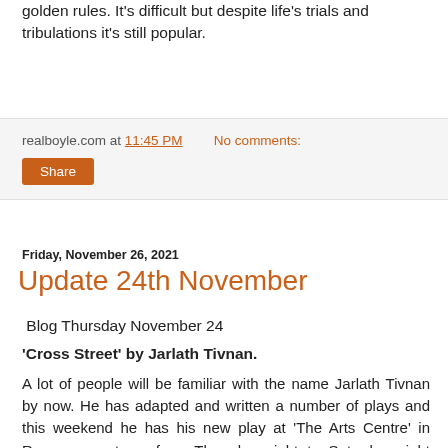golden rules. It's difficult but despite life's trials and tribulations it's still popular.
realboyle.com at 11:45 PM   No comments:
Share
Friday, November 26, 2021
Update 24th November
Blog Thursday November 24
'Cross Street' by Jarlath Tivnan.
A lot of people will be familiar with the name Jarlath Tivnan by now. He has adapted and written a number of plays and this weekend he has his new play at 'The Arts Centre' in Roscommon town from Thursday night to Saturday night inclusive. The play has been developed with the theatre company Frogoli in which Jarlath's first cousin, Maria Tivnan